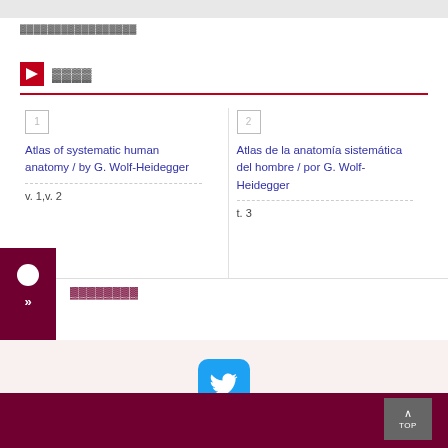▓▓▓▓▓▓▓▓▓▓▓▓▓▓▓▓▓
▓▓▓▓
1  Atlas of systematic human anatomy / by G. Wolf-Heidegger  |  v. 1,v. 2
2  Atlas de la anatomía sistemática del hombre / por G. Wolf-Heidegger  |  t. 3
▓▓▓▓▓▓▓▓
[Figure (logo): Twitter bird logo button in blue rounded square]
TOP